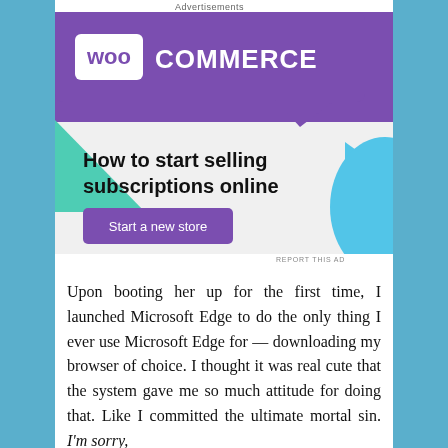Advertisements
[Figure (screenshot): WooCommerce advertisement banner showing purple header with WooCommerce logo, teal triangle shape, light gray body with text 'How to start selling subscriptions online', a purple 'Start a new store' button, and a blue curved shape on the right.]
REPORT THIS AD
Upon booting her up for the first time, I launched Microsoft Edge to do the only thing I ever use Microsoft Edge for — downloading my browser of choice. I thought it was real cute that the system gave me so much attitude for doing that. Like I committed the ultimate mortal sin. I'm sorry,